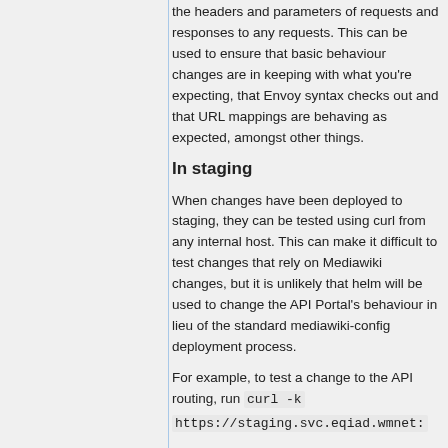the headers and parameters of requests and responses to any requests. This can be used to ensure that basic behaviour changes are in keeping with what you're expecting, that Envoy syntax checks out and that URL mappings are behaving as expected, amongst other things.
In staging
When changes have been deployed to staging, they can be tested using curl from any internal host. This can make it difficult to test changes that rely on Mediawiki changes, but it is unlikely that helm will be used to change the API Portal's behaviour in lieu of the standard mediawiki-config deployment process.
For example, to test a change to the API routing, run curl -k https://staging.svc.eqiad.wmnet: